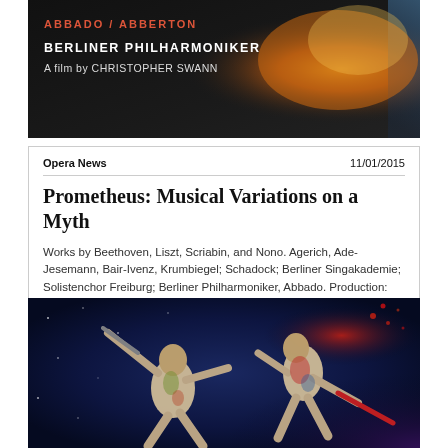[Figure (photo): Dark promotional image showing text 'BERLINER PHILHARMONIKER / A film by CHRISTOPHER SWANN' with orange/fire visual elements on dark background]
Opera News
11/01/2015
Prometheus: Musical Variations on a Myth
Works by Beethoven, Liszt, Scriabin, and Nono. Agerich, Ade-Jesemann, Bair-Ivenz, Krumbiegel; Schadock; Berliner Singakademie; Solistenchor Freiburg; Berliner Philharmoniker, Abbado. Production: Swann. EuroArts 2001944, 57 mins., limited subtitles.
[Figure (photo): Two performers with body paint in dynamic fighting poses against a dark blue starry background, wielding prop weapons]